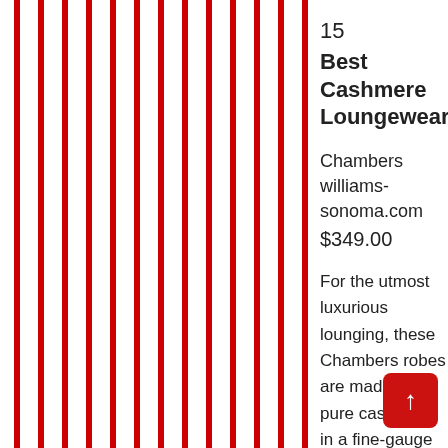[Figure (illustration): Red and white vertical stripes pattern on the left side of the page]
15
Best Cashmere Loungewear
Chambers williams-sonoma.com $349.00
For the utmost luxurious lounging, these Chambers robes are made from pure cashmere in a fine-gauge jersey knit. They're designed